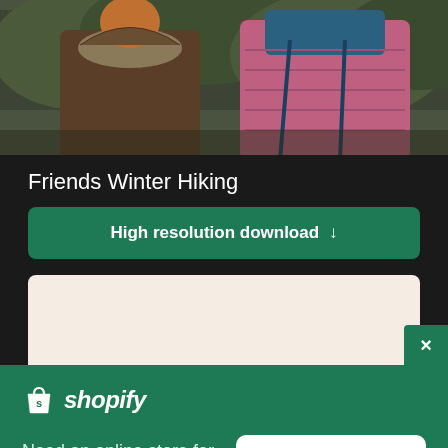[Figure (photo): Two people from behind wearing winter jackets, one brown with fur trim and one pink, standing outdoors in nature.]
Friends Winter Hiking
High resolution download ↓
[Figure (screenshot): Beige/cream colored partial image panel with a green close button (×) in the bottom right corner.]
[Figure (logo): Shopify logo — shopping bag icon with 's' and italic 'shopify' text in white.]
Need an online store for your business?
Start free trial